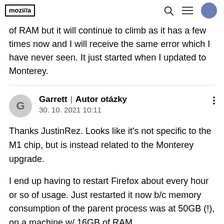mozilla | [search icon] [menu icon] [avatar icon]
of RAM but it will continue to climb as it has a few times now and I will receive the same error which I have never seen. It just started when I updated to Monterey.
Garrett | Autor otázky
30. 10. 2021 10:11
Thanks JustinRez. Looks like it's not specific to the M1 chip, but is instead related to the Monterey upgrade.

I end up having to restart Firefox about every hour or so of usage. Just restarted it now b/c memory consumption of the parent process was at 50GB (!), on a machine w/ 16GB of RAM.